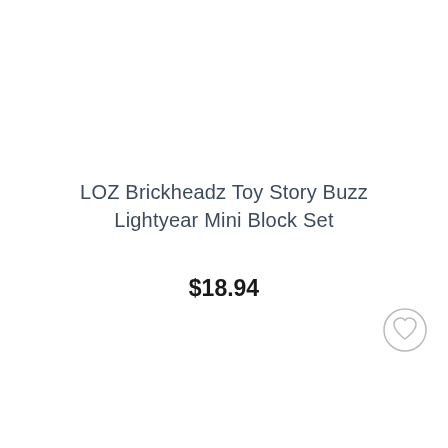LOZ Brickheadz Toy Story Buzz Lightyear Mini Block Set
$18.94
[Figure (illustration): Circular wishlist/heart icon button, light gray outline style, positioned in lower right area]